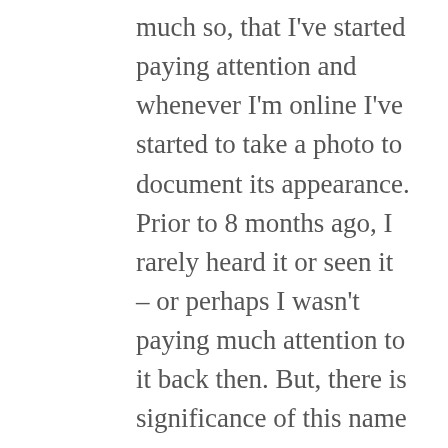much so, that I've started paying attention and whenever I'm online I've started to take a photo to document its appearance. Prior to 8 months ago, I rarely heard it or seen it – or perhaps I wasn't paying much attention to it back then. But, there is significance of this name to my husband and I, as it is the baby name we chose if we had a daughter, but as we've grown our family we've been blessed with two sons. I'm wondering if by continually showing me this name if I'm being given some sort of sign. It's been a weird occurrence over and over again, and yet intriguing.